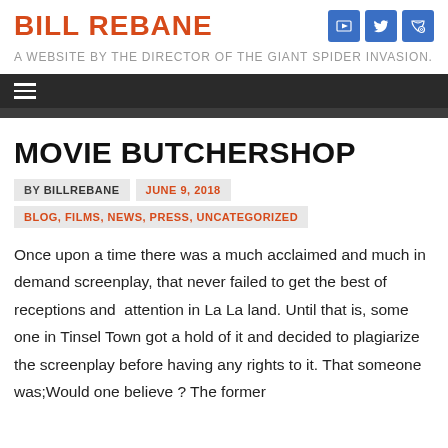BILL REBANE
A WEBSITE BY THE DIRECTOR OF THE GIANT SPIDER INVASION.
MOVIE BUTCHERSHOP
BY BILLREBANE   JUNE 9, 2018
BLOG, FILMS, NEWS, PRESS, UNCATEGORIZED
Once upon a time there was a much acclaimed and much in demand screenplay, that never failed to get the best of receptions and  attention in La La land. Until that is, some one in Tinsel Town got a hold of it and decided to plagiarize the screenplay before having any rights to it. That someone was;Would one believe ? The former